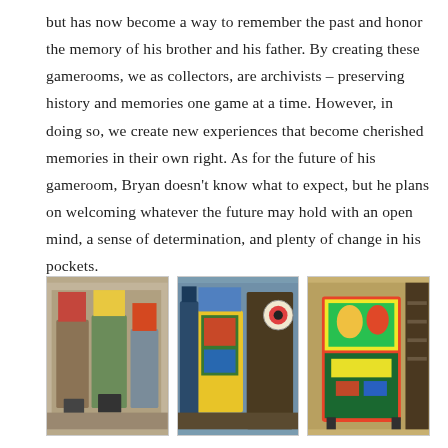but has now become a way to remember the past and honor the memory of his brother and his father. By creating these gamerooms, we as collectors, are archivists – preserving history and memories one game at a time. However, in doing so, we create new experiences that become cherished memories in their own right. As for the future of his gameroom, Bryan doesn't know what to expect, but he plans on welcoming whatever the future may hold with an open mind, a sense of determination, and plenty of change in his pockets.
[Figure (photo): Group of pinball machines in a gameroom, angled view showing colorful playfields and backglasses]
[Figure (photo): Pinball machines in a gameroom with dart board visible in background]
[Figure (photo): Close-up of a pinball machine with colorful artwork, gameroom shelves in background]